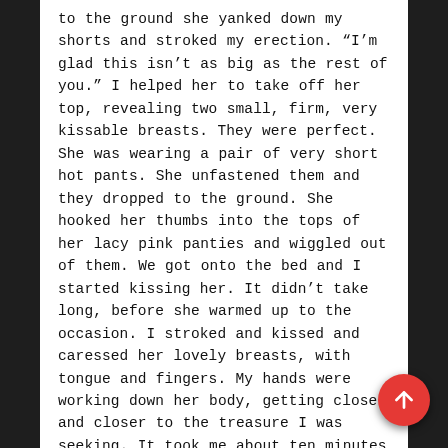to the ground she yanked down my shorts and stroked my erection. “I’m glad this isn’t as big as the rest of you.” I helped her to take off her top, revealing two small, firm, very kissable breasts. They were perfect. She was wearing a pair of very short hot pants. She unfastened them and they dropped to the ground. She hooked her thumbs into the tops of her lacy pink panties and wiggled out of them. We got onto the bed and I started kissing her. It didn’t take long, before she warmed up to the occasion. I stroked and kissed and caressed her lovely breasts, with tongue and fingers. My hands were working down her body, getting closer and closer to the treasure I was seeking. It took me about ten minutes to reach the pot of gold. She gasped as my fingers traced the length of her pussy and found her clit. I had noticed in the movie that Fred didn’t go much for foreplay, so I made a meal of it. I started kissing her down, past her breasts, down past her belly button until I could get my tongue to work on the prize. She was getting wet, very wet. Her breathing was getting